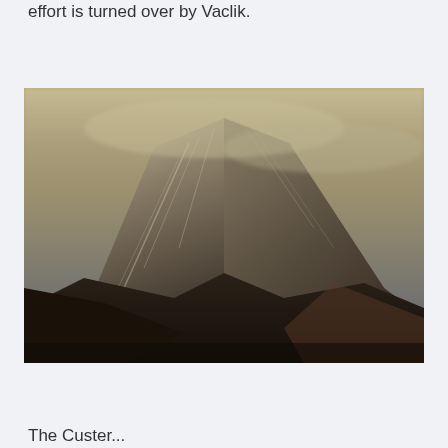effort is turned over by Vaclik.
[Figure (photo): A dramatic mountain peak partially obscured by fog and mist. The mountain has snow and rocky ridges with dark, moody coloring under an overcast sky. The foreground shows dark rocky terrain.]
The Custer...